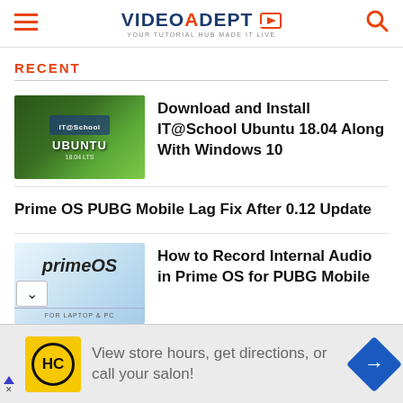VIDEOADEPT
RECENT
Download and Install IT@School Ubuntu 18.04 Along With Windows 10
Prime OS PUBG Mobile Lag Fix After 0.12 Update
How to Record Internal Audio in Prime OS for PUBG Mobile
[Figure (screenshot): Advertisement banner: HC logo, 'View store hours, get directions, or call your salon!' with navigation arrow icon]